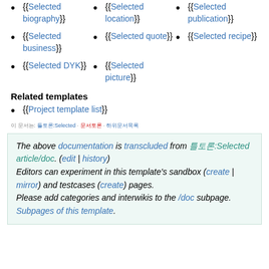{{Selected biography}}
{{Selected location}}
{{Selected publication}}
{{Selected business}}
{{Selected quote}}
{{Selected recipe}}
{{Selected DYK}}
{{Selected picture}}
Related templates
{{Project template list}}
This page: [links]
The above documentation is transcluded from 틀토론:Selected article/doc. (edit | history) Editors can experiment in this template's sandbox (create | mirror) and testcases (create) pages. Please add categories and interwikis to the /doc subpage. Subpages of this template.